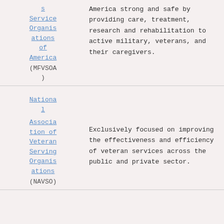| Organization | Description |
| --- | --- |
| s Service Organizations of America (MFVSOA) | America strong and safe by providing care, treatment, research and rehabilitation to active military, veterans, and their caregivers. |
| National Association of Veteran Serving Organizations (NAVSO) | Exclusively focused on improving the effectiveness and efficiency of veteran services across the public and private sector. |